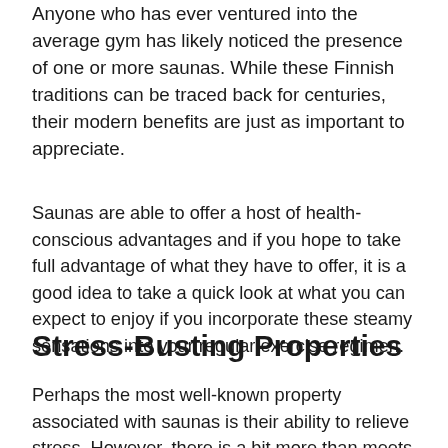Anyone who has ever ventured into the average gym has likely noticed the presence of one or more saunas. While these Finnish traditions can be traced back for centuries, their modern benefits are just as important to appreciate.
Saunas are able to offer a host of health-conscious advantages and if you hope to take full advantage of what they have to offer, it is a good idea to take a quick look at what you can expect to enjoy if you incorporate these steamy sensations into your regular exercise regimen.
Stress-Busting Properties
Perhaps the most well-known property associated with saunas is their ability to relieve stress. However, there is a bit more than meets the eye here. We are not only